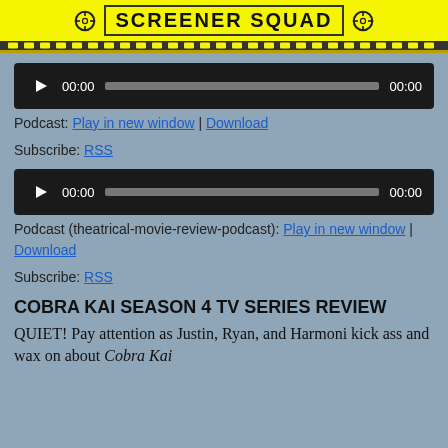[Figure (logo): Screener Squad logo banner with yellow background, crosshair icons, black bold text SCREENER SQUAD, and film strip border]
[Figure (screenshot): Audio player widget with dark background, play button, time display 00:00 on both sides, and gray progress bar]
Podcast: Play in new window | Download
Subscribe: RSS
[Figure (screenshot): Second audio player widget with dark background, play button, time display 00:00 on both sides, and gray progress bar]
Podcast (theatrical-movie-review-podcast): Play in new window | Download
Subscribe: RSS
COBRA KAI SEASON 4 TV SERIES REVIEW
QUIET! Pay attention as Justin, Ryan, and Harmoni kick ass and wax on about Cobra Kai